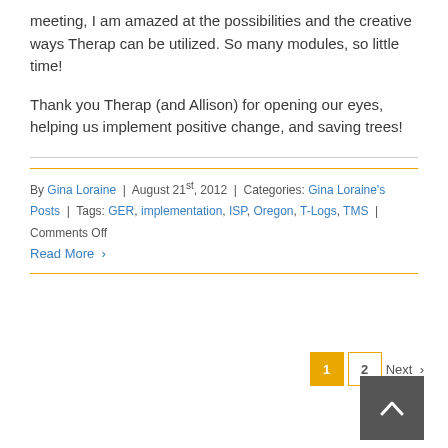meeting, I am amazed at the possibilities and the creative ways Therap can be utilized.  So many modules, so little time!
Thank you Therap (and Allison) for opening our eyes, helping us implement positive change, and saving trees!
By Gina Loraine | August 21st, 2012 | Categories: Gina Loraine's Posts | Tags: GER, implementation, ISP, Oregon, T-Logs, TMS | Comments Off
Read More >
1  2  Next >